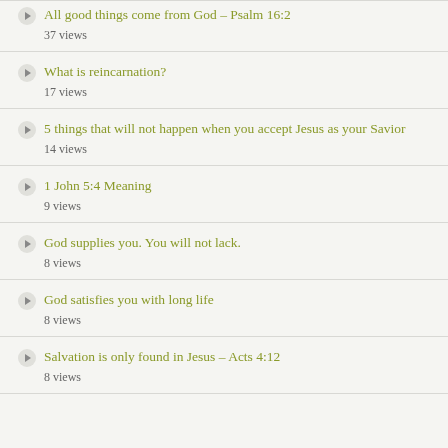All good things come from God – Psalm 16:2
What is reincarnation?
5 things that will not happen when you accept Jesus as your Savior
1 John 5:4 Meaning
God supplies you. You will not lack.
God satisfies you with long life
Salvation is only found in Jesus – Acts 4:12